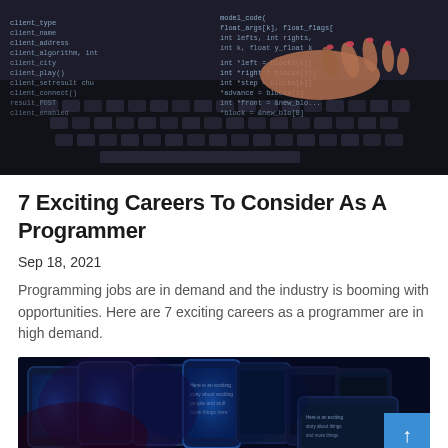[Figure (photo): Person's hands typing on a laptop keyboard with code projected/overlaid on the screen and hands in a dark setting]
7 Exciting Careers To Consider As A Programmer
Sep 18, 2021
Programming jobs are in demand and the industry is booming with opportunities. Here are 7 exciting careers as a programmer are in high demand.
[Figure (photo): Multiple smartphones with blue-lit screens arranged in an overlapping display]